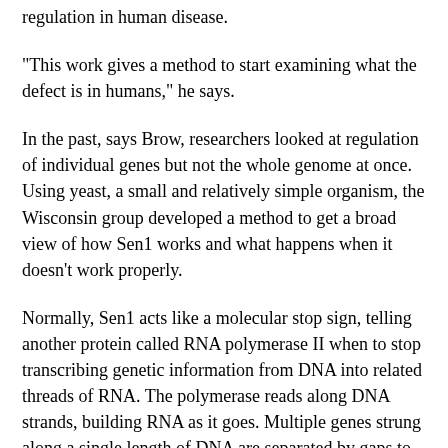regulation in human disease.
"This work gives a method to start examining what the defect is in humans," he says.
In the past, says Brow, researchers looked at regulation of individual genes but not the whole genome at once. Using yeast, a small and relatively simple organism, the Wisconsin group developed a method to get a broad view of how Sen1 works and what happens when it doesn't work properly.
Normally, Sen1 acts like a molecular stop sign, telling another protein called RNA polymerase II when to stop transcribing genetic information from DNA into related threads of RNA. The polymerase reads along DNA strands, building RNA as it goes. Multiple genes strung along a single length of DNA are separated by gaps to mark boundaries. As the polymerase reaches the end of a gene,